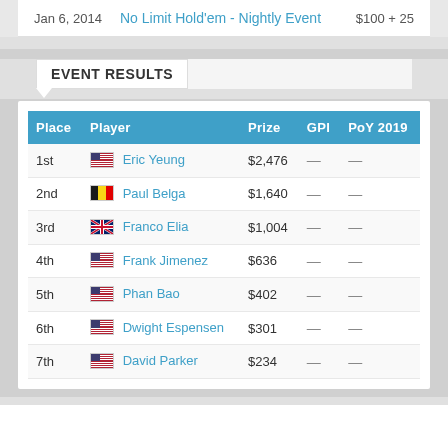Jan 6, 2014   No Limit Hold'em - Nightly Event   $100 + 25
EVENT RESULTS
| Place | Player | Prize | GPI | PoY 2019 |
| --- | --- | --- | --- | --- |
| 1st | Eric Yeung | $2,476 | — | — |
| 2nd | Paul Belga | $1,640 | — | — |
| 3rd | Franco Elia | $1,004 | — | — |
| 4th | Frank Jimenez | $636 | — | — |
| 5th | Phan Bao | $402 | — | — |
| 6th | Dwight Espensen | $301 | — | — |
| 7th | David Parker | $234 | — | — |